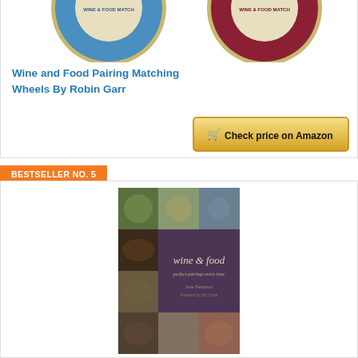[Figure (photo): Two wine and food pairing matching wheels — one with blue border, one with red/burgundy border — partially visible at top]
Wine and Food Pairing Matching Wheels By Robin Garr
[Figure (other): Yellow/gold Amazon button with shopping cart icon reading 'Check price on Amazon']
BESTSELLER NO. 5
[Figure (photo): Book cover for 'wine & food: perfect pairings every time' by Jane Parkinson, showing a collage grid of food and wine photos]